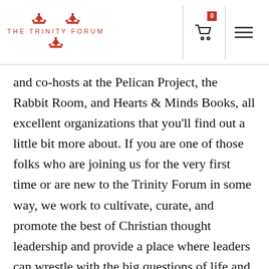[Figure (logo): The Trinity Forum logo with three crowns and text 'THE TRINITY FORUM']
and co-hosts at the Pelican Project, the Rabbit Room, and Hearts & Minds Books, all excellent organizations that you'll find out a little bit more about. If you are one of those folks who are joining us for the very first time or are new to the Trinity Forum in some way, we work to cultivate, curate, and promote the best of Christian thought leadership and provide a place where leaders can wrestle with the big questions of life and come to better know the Author of the answers. We hope today's conversation will provide a small taste of that